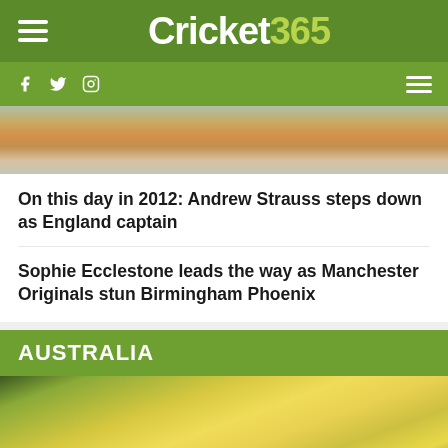Cricket365
[Figure (photo): Cricket action photograph showing a player in motion]
On this day in 2012: Andrew Strauss steps down as England captain
Sophie Ecclestone leads the way as Manchester Originals stun Birmingham Phoenix
AUSTRALIA
[Figure (photo): Australian women's cricket team celebrating in yellow uniforms and caps, with champagne spray]